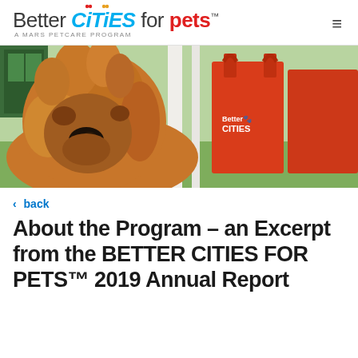Better CITIES for pets™ — A MARS PETCARE PROGRAM
[Figure (photo): A fluffy golden doodle dog facing the camera outdoors, with red tote bags branded 'Better CITIES' visible in the background]
< back
About the Program – an Excerpt from the BETTER CITIES FOR PETS™ 2019 Annual Report